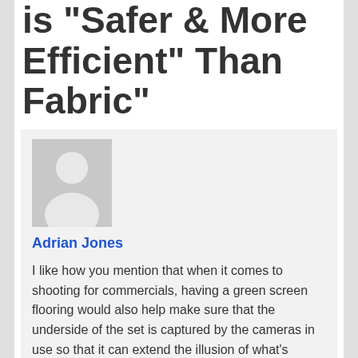is “Safer & More Efficient” Than Fabric”
[Figure (photo): Generic user avatar placeholder image - grey silhouette of a person on light grey background]
Adrian Jones
I like how you mention that when it comes to shooting for commercials, having a green screen flooring would also help make sure that the underside of the set is captured by the cameras in use so that it can extend the illusion of what’s supposed to be there. Another reason to have a green room complete with the flooring and the crew to handle any scene changes that come up. If I had